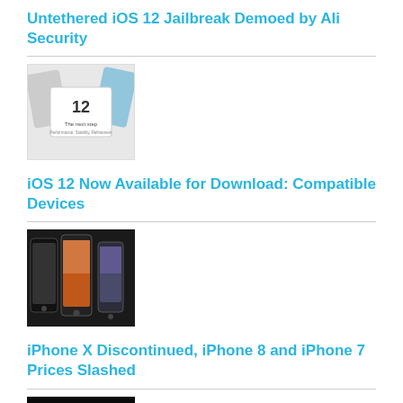Untethered iOS 12 Jailbreak Demoed by Ali Security
[Figure (photo): iOS 12 jailbreak screenshot thumbnail showing lock screen with number 12 and text 'The next step']
iOS 12 Now Available for Download: Compatible Devices
[Figure (photo): Three iPhone models side by side showing iPhone X lineup]
iPhone X Discontinued, iPhone 8 and iPhone 7 Prices Slashed
[Figure (photo): iPhone Xs and iPhone Xr on dark background]
Apple iPhone Xs, iPhone Xs Max, and iPhone Xr Announced
[Figure (photo): Apple Watch thumbnail]